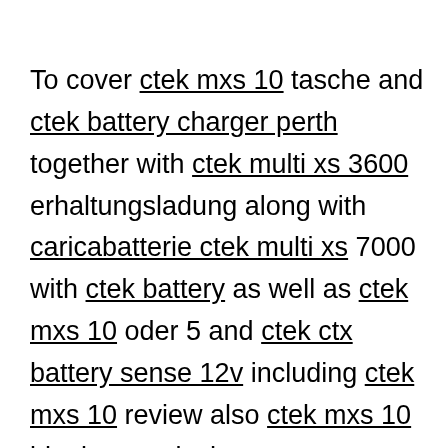To cover ctek mxs 10 tasche and ctek battery charger perth together with ctek multi xs 3600 erhaltungsladung along with caricabatterie ctek multi xs 7000 with ctek battery as well as ctek mxs 10 oder 5 and ctek ctx battery sense 12v including ctek mxs 10 review also ctek mxs 10 idealo to ctek charger accessories and ctek d250s no